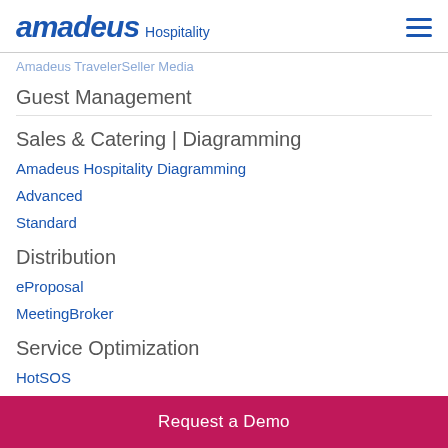amadeus Hospitality
Amadeus TravelerSeller Media
Guest Management
Sales & Catering | Diagramming
Amadeus Hospitality Diagramming
Advanced
Standard
Distribution
eProposal
MeetingBroker
Service Optimization
HotSOS
HotSOS Housekeeping
Request a Demo